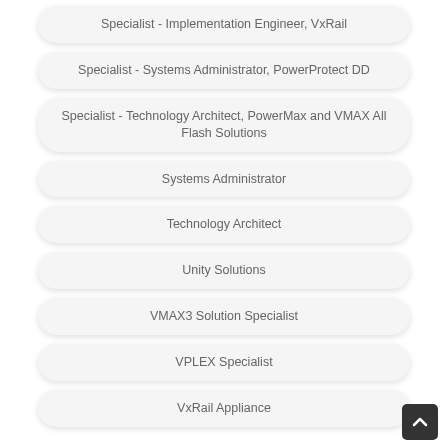Specialist - Implementation Engineer, VxRail
Specialist - Systems Administrator, PowerProtect DD
Specialist - Technology Architect, PowerMax and VMAX All Flash Solutions
Systems Administrator
Technology Architect
Unity Solutions
VMAX3 Solution Specialist
VPLEX Specialist
VxRail Appliance